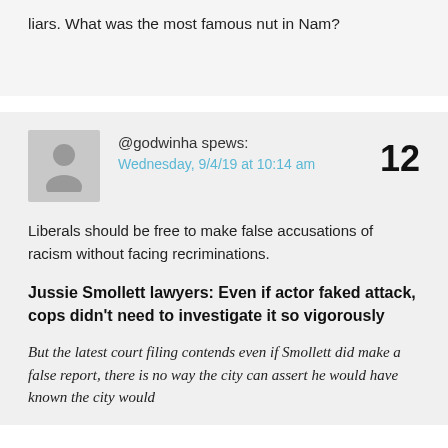liars. What was the most famous nut in Nam?
@godwinha spews: Wednesday, 9/4/19 at 10:14 am
Liberals should be free to make false accusations of racism without facing recriminations.
Jussie Smollett lawyers: Even if actor faked attack, cops didn't need to investigate it so vigorously
But the latest court filing contends even if Smollett did make a false report, there is no way the city can assert he would have known the city would